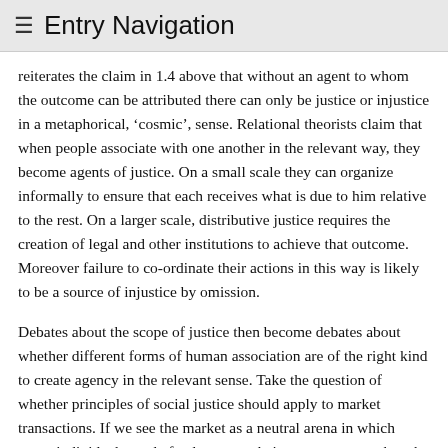≡ Entry Navigation
reiterates the claim in 1.4 above that without an agent to whom the outcome can be attributed there can only be justice or injustice in a metaphorical, ‘cosmic’, sense. Relational theorists claim that when people associate with one another in the relevant way, they become agents of justice. On a small scale they can organize informally to ensure that each receives what is due to him relative to the rest. On a larger scale, distributive justice requires the creation of legal and other institutions to achieve that outcome. Moreover failure to co-ordinate their actions in this way is likely to be a source of injustice by omission.
Debates about the scope of justice then become debates about whether different forms of human association are of the right kind to create agency in the relevant sense. Take the question of whether principles of social justice should apply to market transactions. If we see the market as a neutral arena in which many individual people freely pursue their own purposes, then the answer will be No. The only form of justice that arises will be justice in the